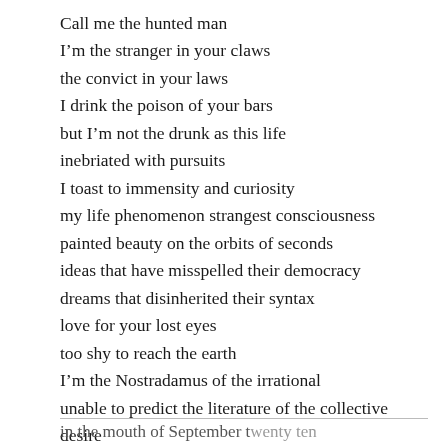Call me the hunted man
I'm the stranger in your claws
the convict in your laws
I drink the poison of your bars
but I'm not the drunk as this life
inebriated with pursuits
I toast to immensity and curiosity
my life phenomenon strangest consciousness
painted beauty on the orbits of seconds
ideas that have misspelled their democracy
dreams that disinherited their syntax
love for your lost eyes
too shy to reach the earth
I'm the Nostradamus of the irrational
unable to predict the literature of the collective
desire
in the mouth of September twenty ten